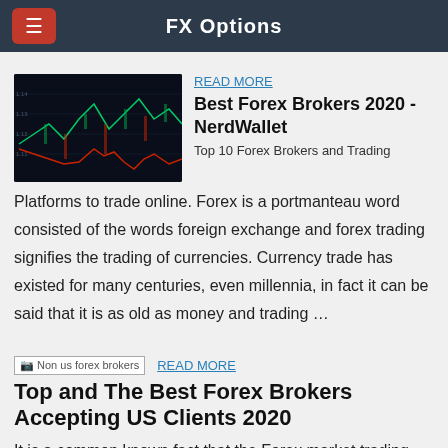FX Options
[Figure (screenshot): Dark-themed forex trading chart showing candlestick/line chart with red and green data]
READ MORE
Best Forex Brokers 2020 - NerdWallet
Top 10 Forex Brokers and Trading Platforms to trade online. Forex is a portmanteau word consisted of the words foreign exchange and forex trading signifies the trading of currencies. Currency trade has existed for many centuries, even millennia, in fact it can be said that it is as old as money and trading …
[Figure (photo): Non us forex brokers - broken image placeholder]
READ MORE
Top and The Best Forex Brokers Accepting US Clients 2020
It is a common known fact that the Forex market trading goes on 24 hours a day, 5 days a week. This happens due to the fact that there